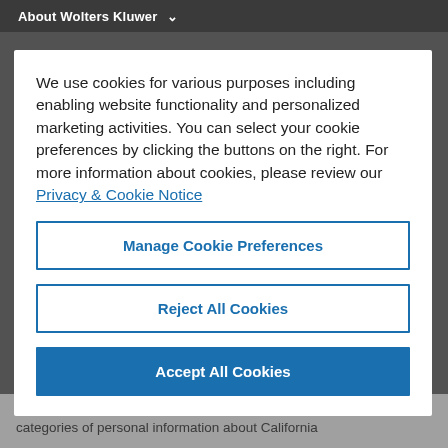About Wolters Kluwer
We use cookies for various purposes including enabling website functionality and personalized marketing activities. You can select your cookie preferences by clicking the buttons on the right. For more information about cookies, please review our Privacy & Cookie Notice
Manage Cookie Preferences
Reject All Cookies
Accept All Cookies
defined under California law. Below please find the categories of personal information about California